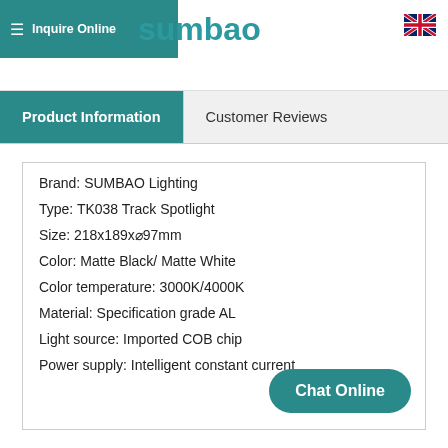Inquire Online
[Figure (logo): SUMBAO company logo in teal color]
[Figure (illustration): UK flag icon]
Product Information | Customer Reviews
Brand: SUMBAO Lighting
Type: TK038 Track Spotlight
Size: 218x189xØ97mm
Color: Matte Black/ Matte White
Color temperature: 3000K/4000K
Material: Specification grade AL
Light source: Imported COB chip
Power supply: Intelligent constant current